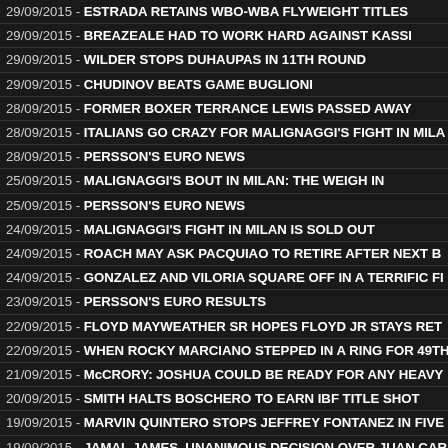29/09/2015 - ESTRADA RETAINS WBO-WBA FLYWEIGHT TITLES
29/09/2015 - BREAZEALE HAD TO WORK HARD AGAINST KASSI
29/09/2015 - WILDER STOPS DUHAUPAS IN 11TH ROUND
29/09/2015 - CHUDINOV BEATS GAME BUGLIONI
28/09/2015 - FORMER BOXER TERRANCE LEWIS PASSED AWAY
28/09/2015 - ITALIANS GO CRAZY FOR MALIGNAGGI'S FIGHT IN MILA
28/09/2015 - PERSSON'S EURO NEWS
25/09/2015 - MALIGNAGGI'S BOUT IN MILAN: THE WEIGH IN
25/09/2015 - PERSSON'S EURO NEWS
24/09/2015 - MALIGNAGGI'S FIGHT IN MILAN IS SOLD OUT
24/09/2015 - ROACH MAY ASK PACQUIAO TO RETIRE AFTER NEXT B
24/09/2015 - GONZALEZ AND VILORIA SQUARE OFF IN A TERRIFIC FI
23/09/2015 - PERSSON'S EURO RESULTS
22/09/2015 - FLOYD MAYWEATHER SR HOPES FLOYD JR STAYS RET
22/09/2015 - WHEN ROCKY MARCIANO STEPPED IN A RING FOR 49TH
21/09/2015 - McCRORY: JOSHUA COULD BE READY FOR ANY HEAVY
20/09/2015 - SMITH HALTS BOSCHERO TO EARN IBF TITLE SHOT
19/09/2015 - MARVIN QUINTERO STOPS JEFFREY FONTANEZ IN FIVE
19/09/2015 - JAMAL JAMES, UNANIMOUS DECISION OVER JUAN CAR
19/09/2015 - CAMACHO STOPS GINGRAS IN 8TH ROUND AT TWIN RI
18/09/2015 - JOE FRAZIER IMMORTALIZED
17/09/2015 - PERSSON'S EURO NEWS
17/09/2015 - BOXING HOPES TO REVIVE IN TRINIDAD AND THE REGI
17/09/2015 - PERSSON'S EURO RESULTS
15/09/2015 - PAUL MALIGNAGGI vs LASZLO FAZEKAS IN ITALY ON S
14/09/2015 - WORLD BOXING FEDERATION NEWSLETTER
13/09/2015 - PERSSON'S EURO NEWS